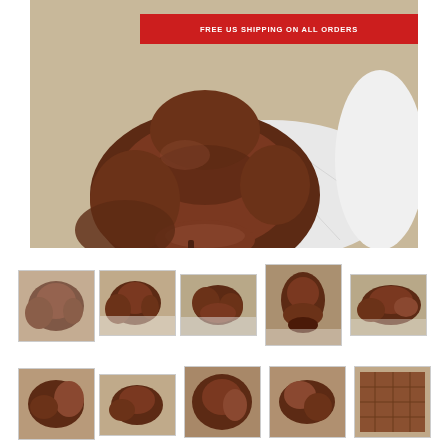[Figure (photo): Main product photo of a dark brown leather horse saddle on a saddle stand with a white quilted saddle pad, photographed from above and behind]
FREE US SHIPPING ON ALL ORDERS
[Figure (photo): Thumbnail 1: Brown leather saddle from front/top view on white pad]
[Figure (photo): Thumbnail 2: Brown leather saddle side view on white pad]
[Figure (photo): Thumbnail 3: Brown leather saddle front view on white pad]
[Figure (photo): Thumbnail 4: Brown leather saddle rear/top view showing cantle]
[Figure (photo): Thumbnail 5: Brown leather saddle side profile view]
[Figure (photo): Thumbnail 6: Brown leather saddle partial view]
[Figure (photo): Thumbnail 7: Brown leather saddle partial view]
[Figure (photo): Thumbnail 8: Brown leather saddle close-up detail]
[Figure (photo): Thumbnail 9: Brown leather saddle close-up detail]
[Figure (photo): Thumbnail 10: Brown leather saddle fabric/leather texture detail]